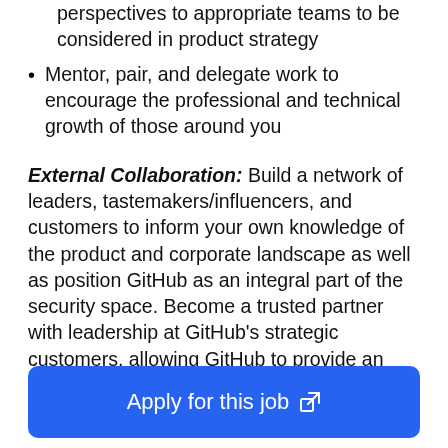perspectives to appropriate teams to be considered in product strategy
Mentor, pair, and delegate work to encourage the professional and technical growth of those around you
External Collaboration: Build a network of leaders, tastemakers/influencers, and customers to inform your own knowledge of the product and corporate landscape as well as position GitHub as an integral part of the security space. Become a trusted partner with leadership at GitHub’s strategic customers, allowing GitHub to provide an enhanced experience, as well as be better able to
Apply for this job